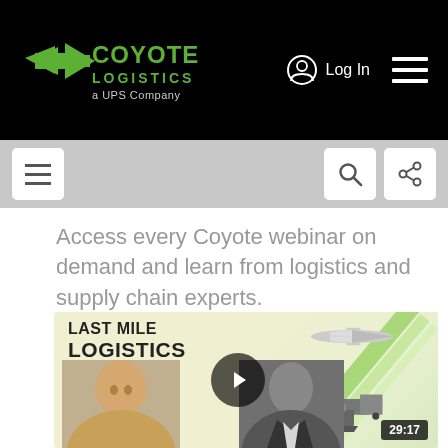[Figure (logo): Coyote Logistics a UPS Company logo in green on black background, with Log In and hamburger menu icons]
[Figure (screenshot): Mobile navigation sub-bar with hamburger menu icon (left), search icon and share icon (right) on grey background]
Access every Coyote webinar on demand and learn from logistics and supply chain experts.
[Figure (screenshot): Video thumbnail showing Last Mile Logistics Trends webinar with two speakers and a play button. Duration badge shows 29:17. Illustration of airplane, trucks and cargo ship visible on right side.]